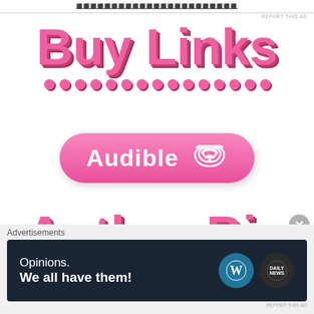REPORT THIS AD
Buy Links
[Figure (illustration): Pink Audible button with wifi/headphone icon on a pill-shaped pink gradient background]
Author Bio
Advertisements
[Figure (illustration): Advertisement banner with dark navy background, text 'Opinions. We all have them!' with WordPress and Daily News UK logos]